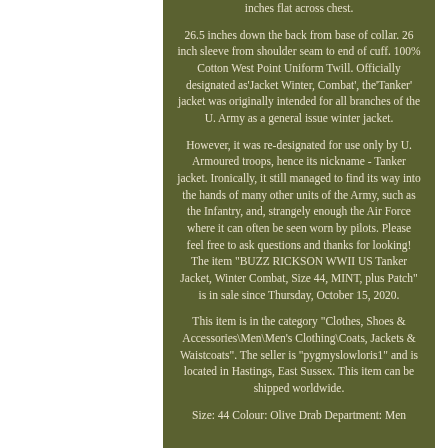inches flat across chest. 26.5 inches down the back from base of collar. 26 inch sleeve from shoulder seam to end of cuff. 100% Cotton West Point Uniform Twill. Officially designated as'Jacket Winter, Combat', the'Tanker' jacket was originally intended for all branches of the U. Army as a general issue winter jacket. However, it was re-designated for use only by U. Armoured troops, hence its nickname - Tanker jacket. Ironically, it still managed to find its way into the hands of many other units of the Army, such as the Infantry, and, strangely enough the Air Force where it can often be seen worn by pilots. Please feel free to ask questions and thanks for looking! The item "BUZZ RICKSON WWII US Tanker Jacket, Winter Combat, Size 44, MINT, plus Patch" is in sale since Thursday, October 15, 2020. This item is in the category "Clothes, Shoes & Accessories\Men\Men's Clothing\Coats, Jackets & Waistcoats". The seller is "pygmyslowloris1" and is located in Hastings, East Sussex. This item can be shipped worldwide. Size: 44 Colour: Olive Drab Department: Men